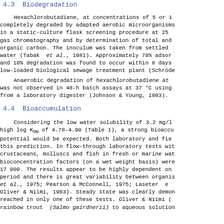4.3  Biodegradation
Hexachlorobutadiene, at concentrations of 5 or 1 completely degraded by adapted aerobic microorganisms in a static-culture flask screening procedure at 25 gas chromatography and by determination of total and organic carbon. The inoculum was taken from settled water (Tabak  et al., 1981). Approximately 70% adsor and 10% degradation was found to occur within 8 days low-loaded biological sewage treatment plant (Schröde
Anaerobic degradation of hexachlorobutadiene at was not observed in 48-h batch assays at 37 °C using from a laboratory digester (Johnson & Young, 1983).
4.4  Bioaccumulation
Considering the low water solubility of 3.2 mg/l high log Kow of 4.78-4.90 (Table 1), a strong bioaccu potential would be expected. Both laboratory and fie this prediction. In flow-through laboratory tests wit crustaceans, molluscs and fish in fresh or marine wat bioconcentration factors (on a wet weight basis) were 17 000. The results appear to be highly dependent on period and there is great variability between organis
et al., 1975; Pearson & McConnell, 1975; Laseter e Oliver & Niimi, 1983). Steady state was clearly demon reached in only one of these tests. Oliver & Niimi ( rainbow trout  (Salmo gairdnerii) to aqueous solution